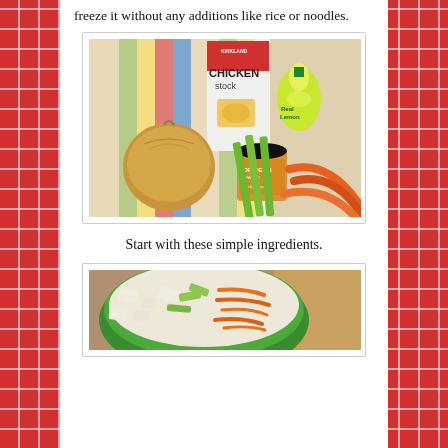freeze it without any additions like rice or noodles.
[Figure (photo): Ingredients for chicken soup laid on a striped cloth: Kirkland Chicken Stock box, RealLemon lemon juice bottle, an onion, a jar of Orrington Farms Chicken Base, celery stalks, and baby carrots.]
Start with these simple ingredients.
[Figure (photo): Chopped vegetables in a green bowl: diced onion, sliced celery, and shredded carrots.]